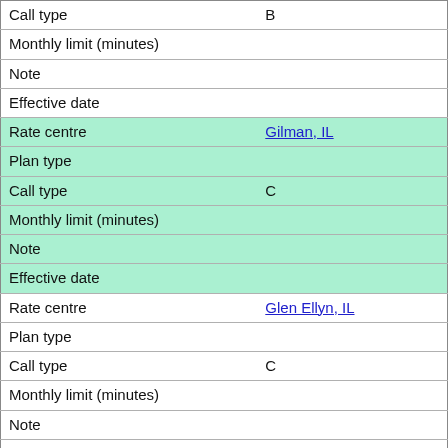| Call type | B |
| Monthly limit (minutes) |  |
| Note |  |
| Effective date |  |
| Rate centre | Gilman, IL |
| Plan type |  |
| Call type | C |
| Monthly limit (minutes) |  |
| Note |  |
| Effective date |  |
| Rate centre | Glen Ellyn, IL |
| Plan type |  |
| Call type | C |
| Monthly limit (minutes) |  |
| Note |  |
| Effective date |  |
| Rate centre | Glenview, IL |
| Plan type |  |
| Call type | C |
| Monthly limit (minutes) |  |
| Note |  |